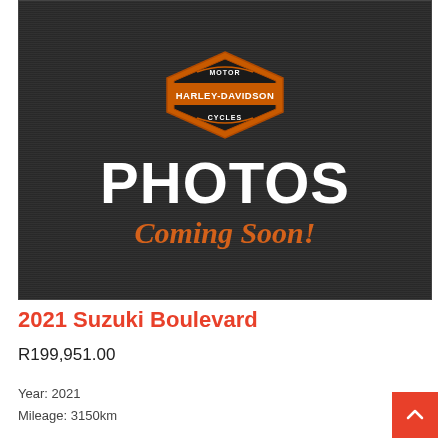[Figure (photo): Harley-Davidson Motor Cycles logo placeholder image on dark brushed metal background with text PHOTOS Coming Soon!]
2021 Suzuki Boulevard
R199,951.00
Year: 2021
Mileage: 3150km